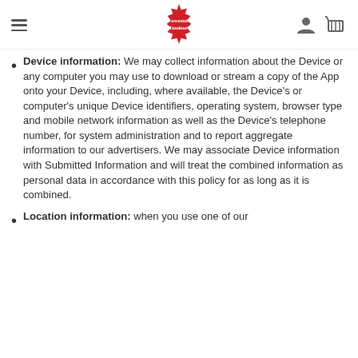Lowestoft Tandoori [logo, hamburger menu, user icon, cart icon]
Device information: We may collect information about the Device or any computer you may use to download or stream a copy of the App onto your Device, including, where available, the Device's or computer's unique Device identifiers, operating system, browser type and mobile network information as well as the Device's telephone number, for system administration and to report aggregate information to our advertisers. We may associate Device information with Submitted Information and will treat the combined information as personal data in accordance with this policy for as long as it is combined.
Location information: when you use one of our